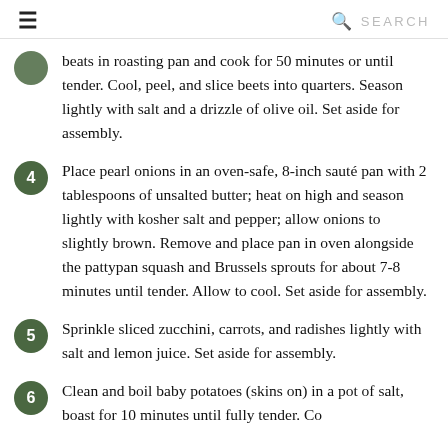≡  🔍 SEARCH
beats in roasting pan and cook for 50 minutes or until tender. Cool, peel, and slice beets into quarters. Season lightly with salt and a drizzle of olive oil. Set aside for assembly.
4  Place pearl onions in an oven-safe, 8-inch sauté pan with 2 tablespoons of unsalted butter; heat on high and season lightly with kosher salt and pepper; allow onions to slightly brown. Remove and place pan in oven alongside the pattypan squash and Brussels sprouts for about 7-8 minutes until tender. Allow to cool. Set aside for assembly.
5  Sprinkle sliced zucchini, carrots, and radishes lightly with salt and lemon juice. Set aside for assembly.
6  Clean and boil baby potatoes (skins on) in a pot of salt, boast for 10 minutes until fully tender. Cool.